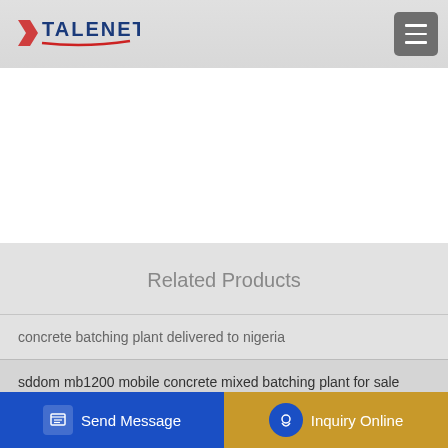[Figure (logo): TALENET company logo with red swoosh underline and hamburger menu icon on right]
Related Products
concrete batching plant delivered to nigeria
sddom mb1200 mobile concrete mixed batching plant for sale
... Free Concrete Pu... Serv... Th...
Send Message
Inquiry Online